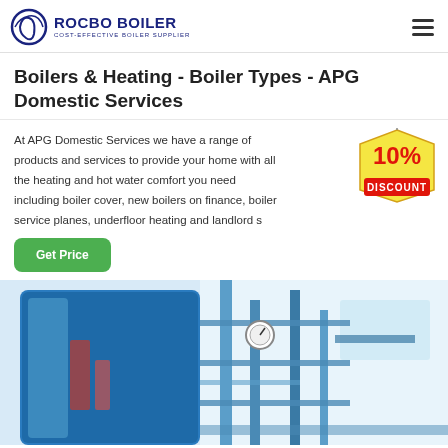ROCBO BOILER - COST-EFFECTIVE BOILER SUPPLIER
Boilers & Heating - Boiler Types - APG Domestic Services
At APG Domestic Services we have a range of products and services to provide your home with all the heating and hot water comfort you need including boiler cover, new boilers on finance, boiler service planes, underfloor heating and landlord s...
[Figure (illustration): 10% DISCOUNT badge/tag graphic in red and yellow]
[Figure (photo): Industrial boiler room with large blue boiler tanks and blue pipe scaffolding]